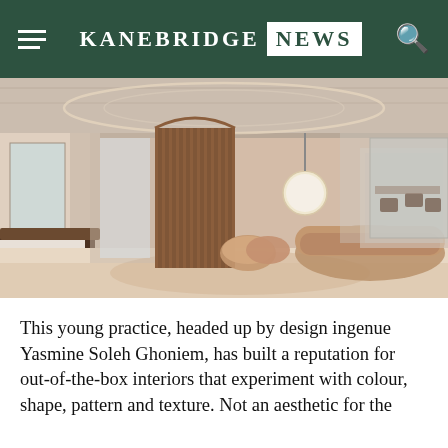KANEBRIDGE NEWS
[Figure (photo): Interior of a modern open-plan office space featuring curved warm-toned fabric partitions, a circular seating area with terracotta/mauve upholstery, exposed ceiling with circular lighting tracks, and open workstations in the background.]
This young practice, headed up by design ingenue Yasmine Soleh Ghoniem, has built a reputation for out-of-the-box interiors that experiment with colour, shape, pattern and texture. Not an aesthetic for the